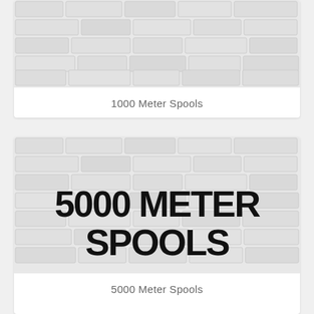[Figure (photo): Brick wall texture image for '1000 Meter Spools' product card, top portion visible]
1000 Meter Spools
[Figure (photo): Brick wall texture image with bold text overlay reading '5000 METER SPOOLS' for product card]
5000 Meter Spools